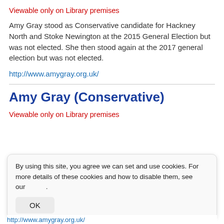Viewable only on Library premises
Amy Gray stood as Conservative candidate for Hackney North and Stoke Newington at the 2015 General Election but was not elected. She then stood again at the 2017 general election but was not elected.
http://www.amygray.org.uk/
Amy Gray (Conservative)
Viewable only on Library premises
By using this site, you agree we can set and use cookies. For more details of these cookies and how to disable them, see our .
OK